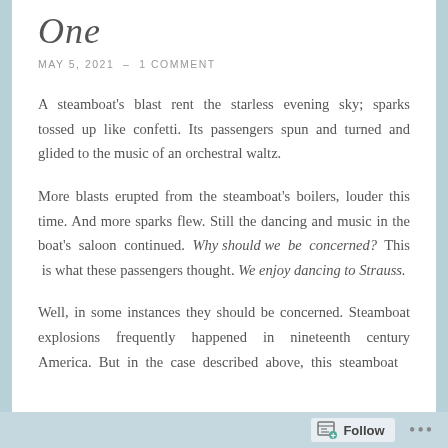One
MAY 5, 2021  –  1 COMMENT
A steamboat's blast rent the starless evening sky; sparks tossed up like confetti. Its passengers spun and turned and glided to the music of an orchestral waltz.
More blasts erupted from the steamboat's boilers, louder this time. And more sparks flew. Still the dancing and music in the boat's saloon continued. Why should we be concerned? This is what these passengers thought. We enjoy dancing to Strauss.
Well, in some instances they should be concerned. Steamboat explosions frequently happened in nineteenth century America. But in the case described above, this steamboat
Follow ...